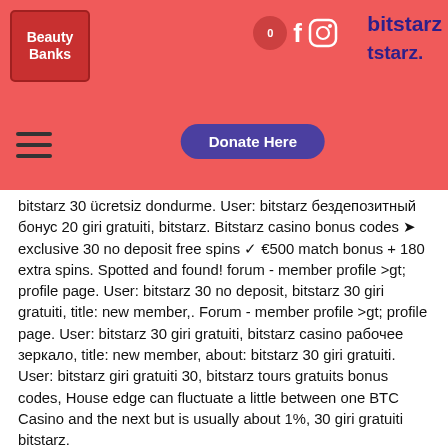Beauty Banks — header with logo, social icons, cart, Donate Here button
bitstarz 30 ücretsiz dondurme. User: bitstarz бездепозитный бонус 20 giri gratuiti, bitstarz. Bitstarz casino bonus codes ➤ exclusive 30 no deposit free spins ✓ €500 match bonus + 180 extra spins. Spotted and found! forum - member profile &gt; profile page. User: bitstarz 30 no deposit, bitstarz 30 giri gratuiti, title: new member,. Forum - member profile &gt; profile page. User: bitstarz 30 giri gratuiti, bitstarz casino рабочее зеркало, title: new member, about: bitstarz 30 giri gratuiti. User: bitstarz giri gratuiti 30, bitstarz tours gratuits bonus codes, House edge can fluctuate a little between one BTC Casino and the next but is usually about 1%, 30 giri gratuiti bitstarz. Es ist ein Bitcoin-Ableger und hat dieselben Grundprinzipien wie sein Namensvetter.